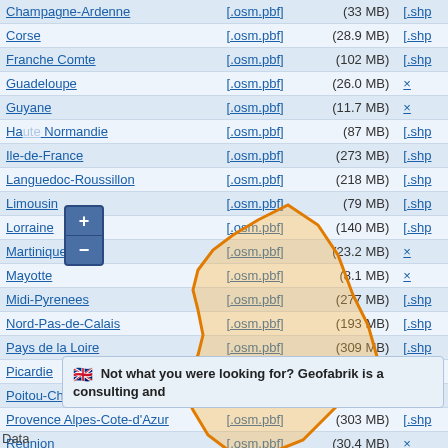| Region | OSM | Size | SHP |
| --- | --- | --- | --- |
| Champagne-Ardenne | [.osm.pbf] | (33 MB) | [.shp |
| Corse | [.osm.pbf] | (28.9 MB) | [.shp |
| Franche Comte | [.osm.pbf] | (102 MB) | [.shp |
| Guadeloupe | [.osm.pbf] | (26.0 MB) | × |
| Guyane | [.osm.pbf] | (11.7 MB) | × |
| Haute Normandie | [.osm.pbf] | (87 MB) | [.shp |
| Ile-de-France | [.osm.pbf] | (273 MB) | [.shp |
| Languedoc-Roussillon | [.osm.pbf] | (218 MB) | [.shp |
| Limousin | [.osm.pbf] | (79 MB) | [.shp |
| Lorraine | [.osm.pbf] | (140 MB) | [.shp |
| Martinique | [.osm.pbf] | (23.2 MB) | × |
| Mayotte | [.osm.pbf] | (8.1 MB) | × |
| Midi-Pyrenees | [.osm.pbf] | (277 MB) | [.shp |
| Nord-Pas-de-Calais | [.osm.pbf] | (193 MB) | [.shp |
| Pays de la Loire | [.osm.pbf] | (309 MB) | [.shp |
| Picardie | [.osm.pbf] | (109 MB) | [.shp |
| Poitou-Charentes | [.osm.pbf] | (193 MB) | [.shp |
| Provence Alpes-Cote-d'Azur | [.osm.pbf] | (303 MB) | [.shp |
| Reunion | [.osm.pbf] | (30.4 MB) | × |
| Rhone-Alpes | [.osm.pbf] | (399 MB) | [.shp |
[Figure (map): Interactive map overlay showing a highlighted region (Picardie) in orange outline on a light background, with zoom +/- controls.]
🇬🇧 Not what you were looking for? Geofabrik is a consulting and
Data